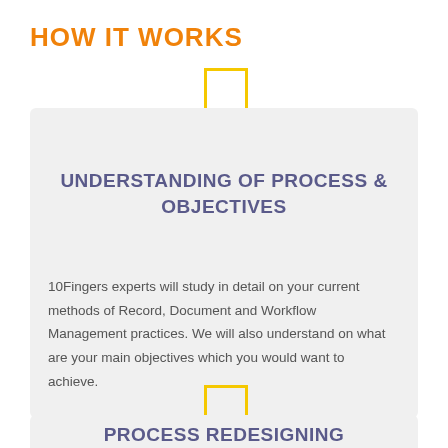HOW IT WORKS
[Figure (infographic): Yellow outlined rectangle connector bar linking title to first card]
UNDERSTANDING OF PROCESS & OBJECTIVES
10Fingers experts will study in detail on your current methods of Record, Document and Workflow Management practices. We will also understand on what are your main objectives which you would want to achieve.
[Figure (infographic): Yellow outlined rectangle connector bar linking first card to second card]
PROCESS REDESIGNING